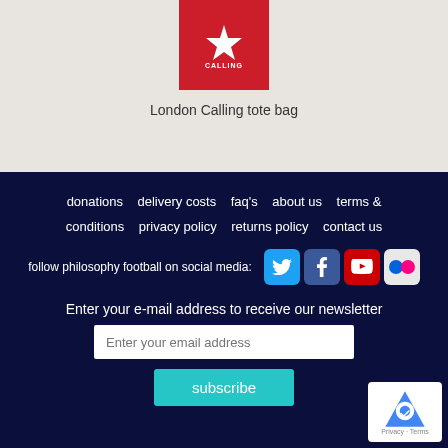[Figure (photo): London Calling tote bag product image - red square logo with star and 'CALLING' text]
London Calling tote bag
donations | delivery costs | faq's | about us | terms & conditions | privacy policy | returns policy | contact us
follow philosophy football on social media:
Enter your e-mail address to receive our newsletter
Enter your email address
subscribe